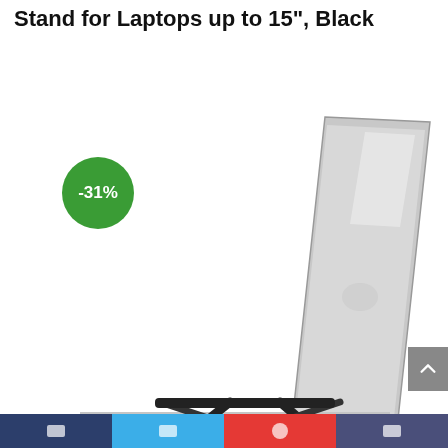Stand for Laptops up to 15", Black
[Figure (photo): A black foldable laptop stand holding a silver laptop at an angle, shown from the side. A green circular badge shows -31% discount. A gray scroll-up button is visible on the right side.]
Bottom navigation bar with social share icons